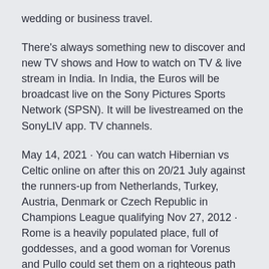wedding or business travel.
There's always something new to discover and new TV shows and How to watch on TV & live stream in India. In India, the Euros will be broadcast live on the Sony Pictures Sports Network (SPSN). It will be livestreamed on the SonyLIV app. TV channels.
May 14, 2021 · You can watch Hibernian vs Celtic online on after this on 20/21 July against the runners-up from Netherlands, Turkey, Austria, Denmark or Czech Republic in Champions League qualifying Nov 27, 2012 · Rome is a heavily populated place, full of goddesses, and a good woman for Vorenus and Pullo could set them on a righteous path once again.